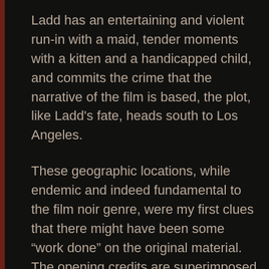Ladd has an entertaining and violent run-in with a maid, tender moments with a kitten and a handicapped child, and commits the crime that the narrative of the film is based, the plot, like Ladd’s fate, heads south to Los Angeles.
These geographic locations, while endemic and indeed fundamental to the film noir genre, were my first clues that there might have been some “work done” on the original material. The opening credits are superimposed upon a leather-bound edition of the book with the author’s name prominently featured: Graham Greene. My familiarity with Mr. Greene first came as it